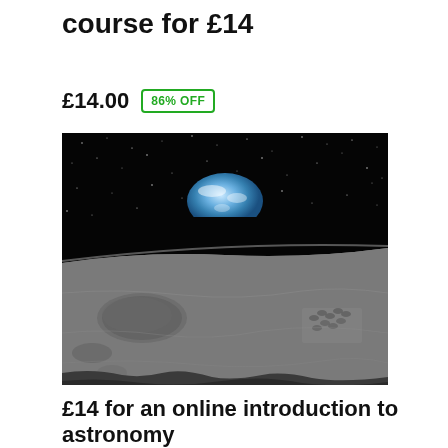course for £14
£14.00  86% OFF
[Figure (photo): Black and white photograph of the moon's surface with footprints and craters in the foreground, and Earth rising above the lunar horizon against a starry black space background.]
£14 for an online introduction to astronomy